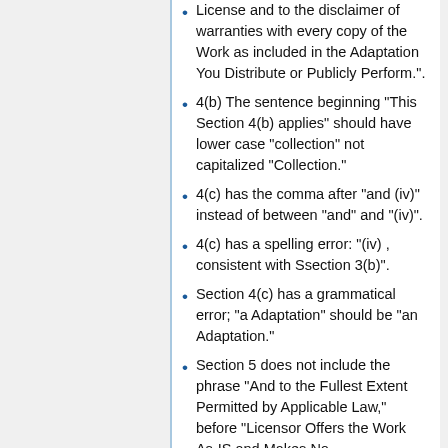License and to the disclaimer of warranties with every copy of the Work as included in the Adaptation You Distribute or Publicly Perform.".
4(b) The sentence beginning "This Section 4(b) applies" should have lower case "collection" not capitalized "Collection."
4(c) has the comma after "and (iv)" instead of between "and" and "(iv)".
4(c) has a spelling error: "(iv) , consistent with Ssection 3(b)".
Section 4(c) has a grammatical error; "a Adaptation" should be "an Adaptation."
Section 5 does not include the phrase "And to the Fullest Extent Permitted by Applicable Law," before "Licensor Offers the Work As-IS and Makes No Representations". Only